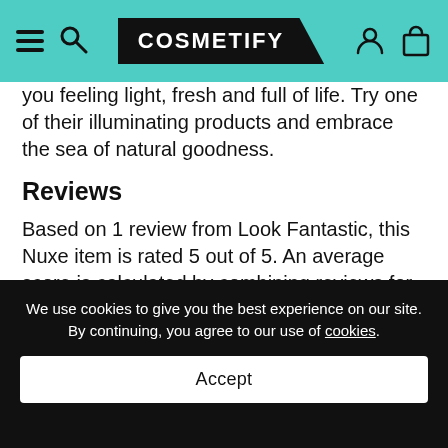COSMETIFY
you feeling light, fresh and full of life. Try one of their illuminating products and embrace the sea of natural goodness.
Reviews
Based on 1 review from Look Fantastic, this Nuxe item is rated 5 out of 5. An average score is calculated by combining reviews for this product across retailers. You can read review content by going to the retailer website.
Delivery & Returns
We use cookies to give you the best experience on our site. By continuing, you agree to our use of cookies.
Accept